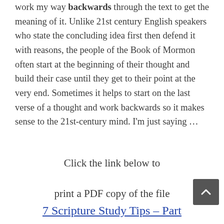work my way backwards through the text to get the meaning of it. Unlike 21st century English speakers who state the concluding idea first then defend it with reasons, the people of the Book of Mormon often start at the beginning of their thought and build their case until they get to their point at the very end. Sometimes it helps to start on the last verse of a thought and work backwards so it makes sense to the 21st-century mind. I'm just saying …
Click the link below to
print a PDF copy of the file
7 Scripture Study Tips – Part